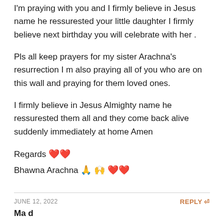I'm praying with you and I firmly believe in Jesus name he ressurested your little daughter I firmly believe next birthday you will celebrate with her .
Pls all keep prayers for my sister Arachna's resurrection I m also praying all of you who are on this wall and praying for them loved ones.
I firmly believe in Jesus Almighty name he ressurested them all and they come back alive suddenly immediately at home Amen
Regards ❤❤
Bhawna Arachna 🙏🙌❤❤
JUNE 12, 2022    REPLY